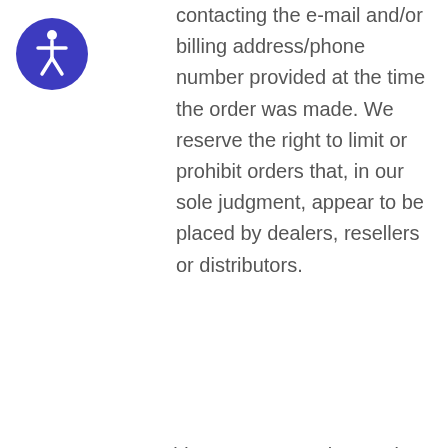[Figure (logo): Accessibility icon: a circular blue button with a white human figure (wheelchair accessibility symbol) in the center]
contacting the e-mail and/or billing address/phone number provided at the time the order was made. We reserve the right to limit or prohibit orders that, in our sole judgment, appear to be placed by dealers, resellers or distributors.
You agree to provide current, complete and accurate purchase and account information for all purchases made at our store. You agree to promptly update your account and other information, including your email address and credit card numbers and expiration dates, so that we can complete your transactions and contact you as needed.